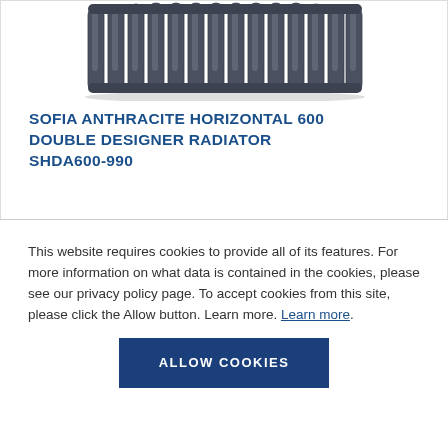[Figure (photo): Anthracite horizontal double designer radiator with vertical oval tubes, viewed from above at an angle]
SOFIA ANTHRACITE HORIZONTAL 600 DOUBLE DESIGNER RADIATOR SHDA600-990
This website requires cookies to provide all of its features. For more information on what data is contained in the cookies, please see our privacy policy page. To accept cookies from this site, please click the Allow button. Learn more. Learn more.
ALLOW COOKIES